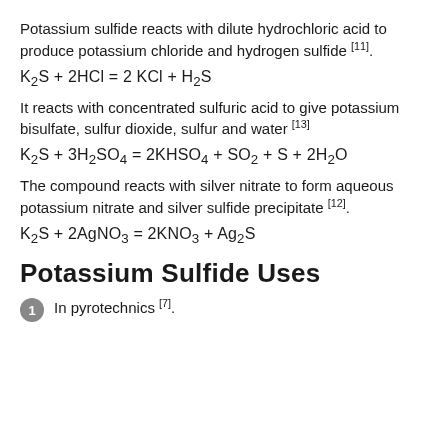Potassium sulfide reacts with dilute hydrochloric acid to produce potassium chloride and hydrogen sulfide [11].
It reacts with concentrated sulfuric acid to give potassium bisulfate, sulfur dioxide, sulfur and water [13]
The compound reacts with silver nitrate to form aqueous potassium nitrate and silver sulfide precipitate [12].
Potassium Sulfide Uses
In pyrotechnics [7].